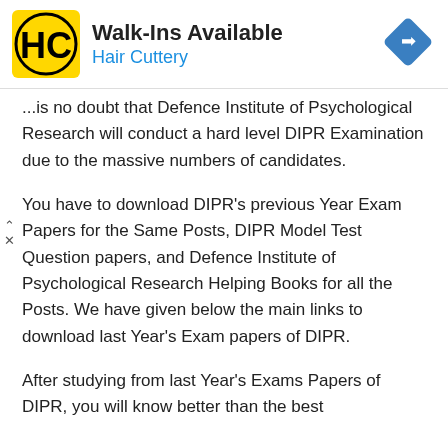[Figure (advertisement): Hair Cuttery advertisement banner with yellow logo showing HC letters, 'Walk-Ins Available' heading, 'Hair Cuttery' subtitle in blue, and a blue navigation/directions diamond icon on the right]
...is no doubt that Defence Institute of Psychological Research will conduct a hard level DIPR Examination due to the massive numbers of candidates.
You have to download DIPR's previous Year Exam Papers for the Same Posts, DIPR Model Test Question papers, and Defence Institute of Psychological Research Helping Books for all the Posts. We have given below the main links to download last Year's Exam papers of DIPR.
After studying from last Year's Exams Papers of DIPR, you will know better than the best